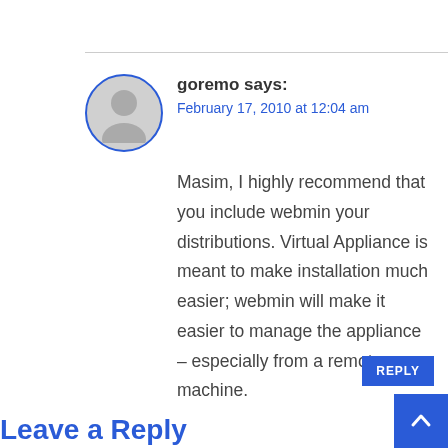[Figure (illustration): Gray avatar circle with blue border showing a generic user silhouette icon]
goremo says:
February 17, 2010 at 12:04 am
Masim, I highly recommend that you include webmin your distributions. Virtual Appliance is meant to make installation much easier; webmin will make it easier to manage the appliance – especially from a remote machine.
REPLY
Leave a Reply